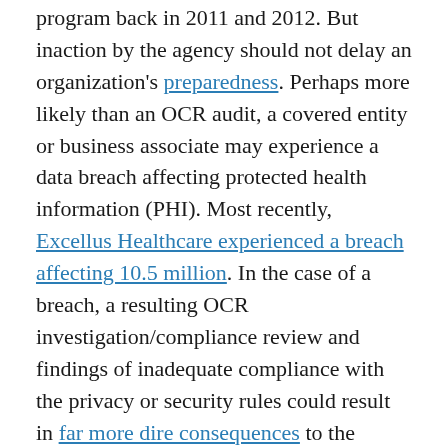program back in 2011 and 2012. But inaction by the agency should not delay an organization's preparedness. Perhaps more likely than an OCR audit, a covered entity or business associate may experience a data breach affecting protected health information (PHI). Most recently, Excellus Healthcare experienced a breach affecting 10.5 million. In the case of a breach, a resulting OCR investigation/compliance review and findings of inadequate compliance with the privacy or security rules could result in far more dire consequences to the organization than what might follow an audit.
Reports about the upcoming audit program indicate some key areas of focus by the OCR. These also are areas that OCR has raised numerous times in settlements with covered entities following data